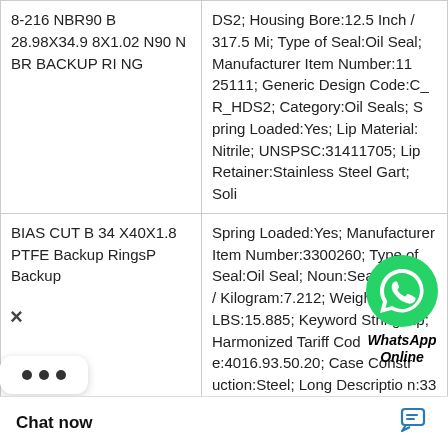| Product | Description |
| --- | --- |
| 8-216 NBR90 B 28.98X34.98X1.02 N90 NBR BACKUP RING | DS2; Housing Bore:12.5 Inch / 317.5 Mi; Type of Seal:Oil Seal; Manufacturer Item Number:11 25111; Generic Design Code:C_R_HDS2; Category:Oil Seals; Spring Loaded:Yes; Lip Material:Nitrile; UNSPSC:31411705; Lip Retainer:Stainless Steel Gart; Soli |
| BIAS CUT B 34X40X1.8 PTFE Backup RingsP Backup | Spring Loaded:Yes; Manufacturer Item Number:3300260; Type of Seal:Oil Seal; Noun:Seal; Weight / Kilogram:7.212; Weight / LBS:15.885; Keyword String:Lip; Harmonized Tariff Code:4016.93.50.20; Case Construction:Steel; Long Description:33 Shaft Dia; Seal Design Code:HDS1; Category:Oil Seals; |
Chat now